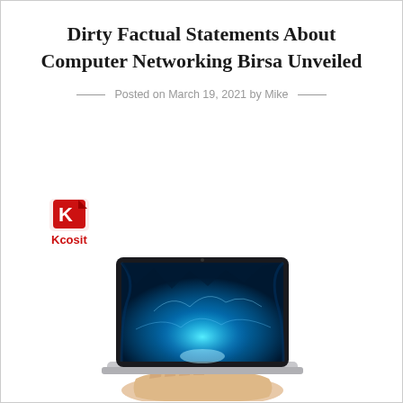Dirty Factual Statements About Computer Networking Birsa Unveiled
Posted on March 19, 2021 by Mike
[Figure (logo): Kcosit brand logo — red stylized K icon with 'Kcosit' text in red below]
[Figure (photo): A hand holding open a laptop displaying a glowing blue cave or underwater scene on the screen]